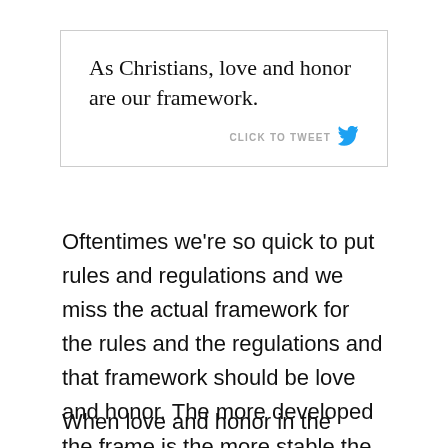[Figure (other): Quote box with border containing the text 'As Christians, love and honor are our framework.' and a 'CLICK TO TWEET' link with Twitter bird icon.]
Oftentimes we're so quick to put rules and regulations and we miss the actual framework for the rules and the regulations and that framework should be love and honor. The more developed the frame is the more stable the house is.
When love and honor in the home is